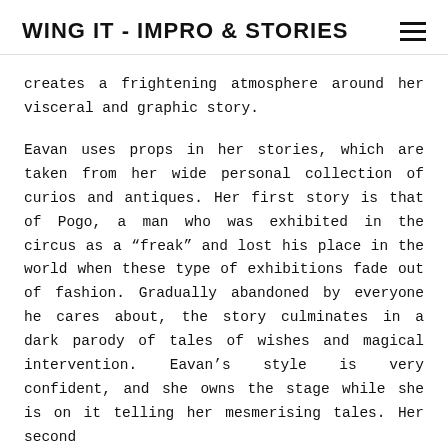WING IT - IMPRO & STORIES
creates a frightening atmosphere around her visceral and graphic story.
Eavan uses props in her stories, which are taken from her wide personal collection of curios and antiques. Her first story is that of Pogo, a man who was exhibited in the circus as a “freak” and lost his place in the world when these type of exhibitions fade out of fashion. Gradually abandoned by everyone he cares about, the story culminates in a dark parody of tales of wishes and magical intervention. Eavan’s style is very confident, and she owns the stage while she is on it telling her mesmerising tales. Her second